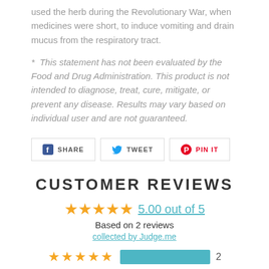used the herb during the Revolutionary War, when medicines were short, to induce vomiting and drain mucus from the respiratory tract.
* This statement has not been evaluated by the Food and Drug Administration. This product is not intended to diagnose, treat, cure, mitigate, or prevent any disease. Results may vary based on individual user and are not guaranteed.
[Figure (other): Social sharing buttons: SHARE (Facebook), TWEET (Twitter), PIN IT (Pinterest)]
CUSTOMER REVIEWS
5.00 out of 5
Based on 2 reviews
collected by Judge.me
[Figure (infographic): 5-star rating bar row with stars and teal bar, count: 2]